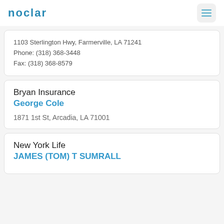NOCLAR
1103 Sterlington Hwy, Farmerville, LA 71241
Phone: (318) 368-3448
Fax: (318) 368-8579
Bryan Insurance
George Cole
1871 1st St, Arcadia, LA 71001
New York Life
JAMES (TOM) T SUMRALL